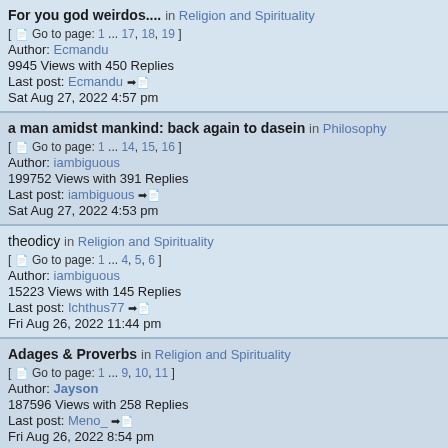For you god weirdos.... in Religion and Spirituality
[ Go to page: 1 ... 17, 18, 19 ]
Author: Ecmandu
9945 Views with 450 Replies
Last post: Ecmandu
Sat Aug 27, 2022 4:57 pm
a man amidst mankind: back again to dasein in Philosophy
[ Go to page: 1 ... 14, 15, 16 ]
Author: iambiguous
199752 Views with 391 Replies
Last post: iambiguous
Sat Aug 27, 2022 4:53 pm
theodicy in Religion and Spirituality
[ Go to page: 1 ... 4, 5, 6 ]
Author: iambiguous
15223 Views with 145 Replies
Last post: Ichthus77
Fri Aug 26, 2022 11:44 pm
Adages & Proverbs in Religion and Spirituality
[ Go to page: 1 ... 9, 10, 11 ]
Author: Jayson
187596 Views with 258 Replies
Last post: Meno_
Fri Aug 26, 2022 8:54 pm
Desperate Degenerate Support Group in The Sandbox